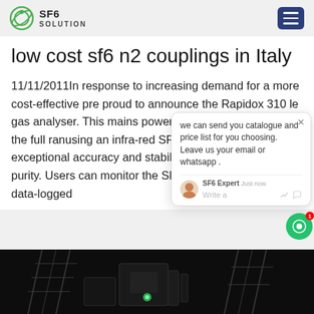SF6 SOLUTION
low cost sf6 n2 couplings in Italy
11/11/2011In response to increasing demand for a more cost-effective product, we are proud to announce the Rapidox 3100 portable single gas analyser. This mains powered analyser can measure SF 6 gas over the full range 0-100% v/v, using an infra-red SF 6 sensor, which offers exceptional accuracy and stability when measuring purity. Users can monitor the SF 6 gas, with all analysis data-logged
[Figure (photo): Dark industrial equipment photo at bottom of page]
we can send you catalogue and price list for you choosing. Leave us your email or whatsapp .